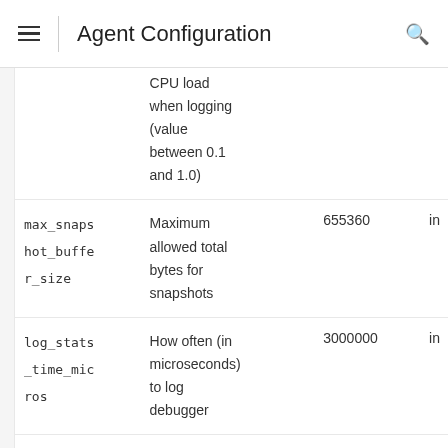Agent Configuration
| Name | Description | Default | Unit |
| --- | --- | --- | --- |
|  | CPU load when logging (value between 0.1 and 1.0) |  |  |
| max_snaps_hot_buffer_size | Maximum allowed total bytes for snapshots | 655360 | in |
| log_stats_time_micros | How often (in microseconds) to log debugger | 3000000 | in |